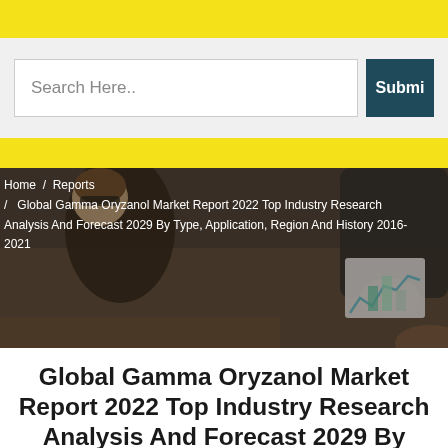[Figure (screenshot): Yellow top navigation bar]
[Figure (screenshot): Search bar with text input 'Search Here..' and a dark teal Submit button]
[Figure (photo): Hero banner image showing people reviewing documents around a table, with breadcrumb navigation overlay. Background photo of business meeting with charts visible.]
Home / Reports / Global Gamma Oryzanol Market Report 2022 Top Industry Research Analysis And Forecast 2029 By Type, Application, Region And History 2016-2021
Global Gamma Oryzanol Market Report 2022 Top Industry Research Analysis And Forecast 2029 By Ty...